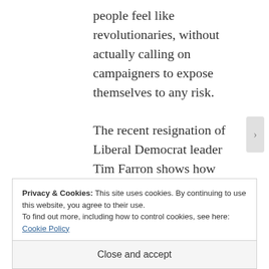people feel like revolutionaries, without actually calling on campaigners to expose themselves to any risk.

The recent resignation of Liberal Democrat leader Tim Farron shows how twisted the issue of ‘equal marriage’ is. Farron is a typical Westminster centrist, and a committed human rights advocate. His own personal beliefs
Privacy & Cookies: This site uses cookies. By continuing to use this website, you agree to their use.
To find out more, including how to control cookies, see here: Cookie Policy
Close and accept